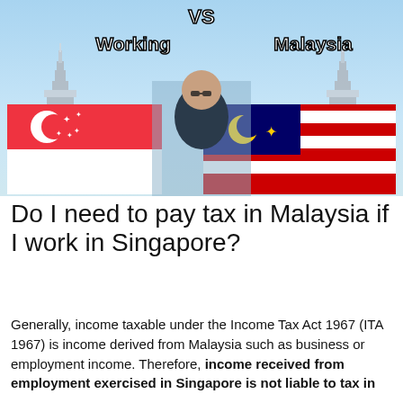[Figure (screenshot): YouTube thumbnail showing 'Working in Malaysia VS Singapore' with Petronas Towers, Singapore flag, Malaysia flag, and a person photo in the center]
Do I need to pay tax in Malaysia if I work in Singapore?
Generally, income taxable under the Income Tax Act 1967 (ITA 1967) is income derived from Malaysia such as business or employment income. Therefore, income received from employment exercised in Singapore is not liable to tax in